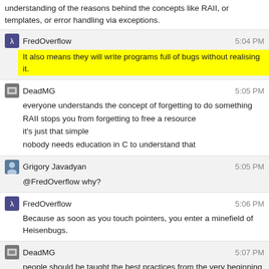understanding of the reasons behind the concepts like RAII, or templates, or error handling via exceptions.
FredOverflow 5:04 PM
It also means they will write programs full of bugs without realising it.
DeadMG 5:05 PM
everyone understands the concept of forgetting to do something
RAII stops you from forgetting to free a resource
it's just that simple
nobody needs education in C to understand that
Grigory Javadyan 5:05 PM
@FredOverflow why?
FredOverflow 5:06 PM
Because as soon as you touch pointers, you enter a minefield of Heisenbugs.
DeadMG 5:07 PM
people should be taught the best practices from the very beginning
they need a clear message
Cat Plus Plus 5:08 PM
Could someone downvote me once, please.
DeadMG 5:08 PM
I don't need to deal with the execution pointer at assembly level to know that functions and loops are good things